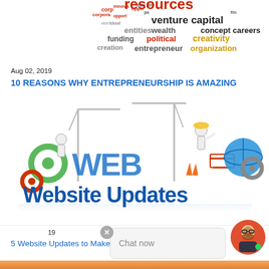[Figure (infographic): Word cloud about entrepreneurship with words like resources, venture capital, concept careers, entities, wealth, political, creativity, funding, creation, entrepreneur, organization in various colors and sizes]
Aug 02, 2019
10 REASONS WHY ENTREPRENEURSHIP IS AMAZING
[Figure (illustration): Colorful 3D illustration showing 'WEB Website Updates' text with construction cranes, worker figures, gears, and a globe]
19
5 Website Updates to Make in 2019
[Figure (infographic): WhatsApp chat button overlay with green circular icon, chat now bubble with avatar]